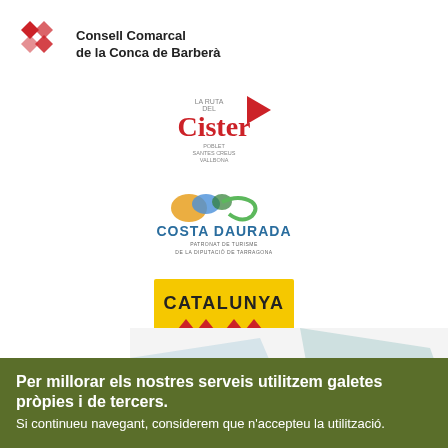[Figure (logo): Consell Comarcal de la Conca de Barberà logo with diamond shapes]
[Figure (logo): La Ruta del Cister logo with red text and flag]
[Figure (logo): Costa Daurada logo with colorful swirl design]
[Figure (logo): Catalunya tourism logo on yellow background with red diamond shapes]
[Figure (infographic): Decorative geometric background with green, teal, olive, and light blue polygon shapes]
Amb la col·laboració de:
Per millorar els nostres serveis utilitzem galetes pròpies i de tercers.
Si continueu navegant, considerem que n'accepteu la utilització.